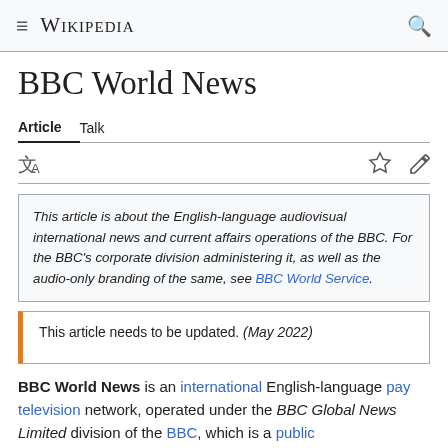≡ Wikipedia 🔍
BBC World News
Article   Talk
This article is about the English-language audiovisual international news and current affairs operations of the BBC. For the BBC's corporate division administering it, as well as the audio-only branding of the same, see BBC World Service.
This article needs to be updated. (May 2022)
BBC World News is an international English-language pay television network, operated under the BBC Global News Limited division of the BBC, which is a public